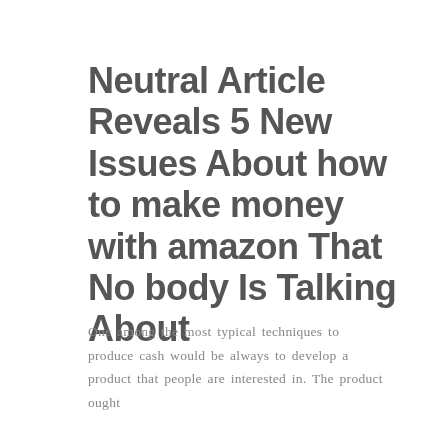Neutral Article Reveals 5 New Issues About how to make money with amazon That Nobody Is Talking About
One among the most typical techniques to produce cash would be always to develop a product that people are interested in. The product ought